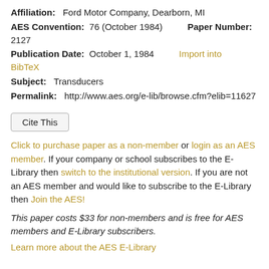Affiliation: Ford Motor Company, Dearborn, MI
AES Convention: 76 (October 1984)    Paper Number: 2127
Publication Date: October 1, 1984    Import into BibTeX
Subject: Transducers
Permalink: http://www.aes.org/e-lib/browse.cfm?elib=11627
Cite This
Click to purchase paper as a non-member or login as an AES member. If your company or school subscribes to the E-Library then switch to the institutional version. If you are not an AES member and would like to subscribe to the E-Library then Join the AES!
This paper costs $33 for non-members and is free for AES members and E-Library subscribers.
Learn more about the AES E-Library